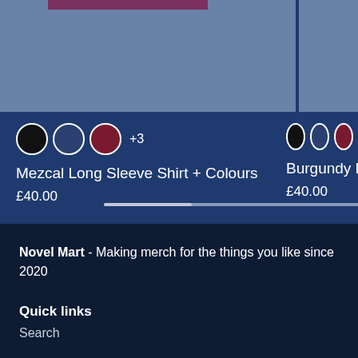[Figure (screenshot): Product card image for Mezcal Long Sleeve Shirt - blue/slate background with partial shirt image partially cut off at top]
[Figure (screenshot): Partial product card image on right side, cut off]
Mezcal Long Sleeve Shirt + Colours
£40.00
Burgundy L
£40.00
Novel Mart - Making merch for the things you like since 2020
Quick links
Search